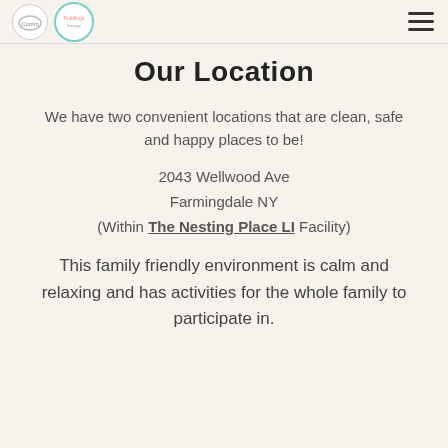[Logo icons and hamburger menu]
Our Location
We have two convenient locations that are clean, safe and happy places to be!
2043 Wellwood Ave
Farmingdale NY
(Within The Nesting Place LI Facility)
This family friendly environment is calm and relaxing and has activities for the whole family to participate in.